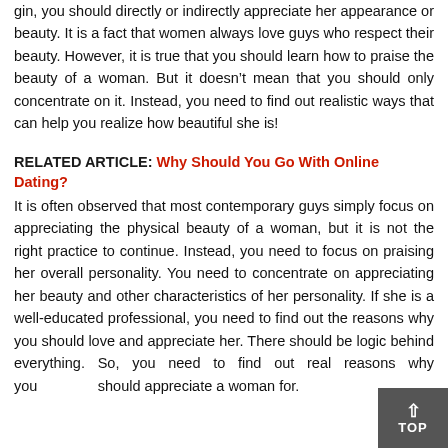gin, you should directly or indirectly appreciate her appearance or beauty. It is a fact that women always love guys who respect their beauty. However, it is true that you should learn how to praise the beauty of a woman. But it doesn't mean that you should only concentrate on it. Instead, you need to find out realistic ways that can help you realize how beautiful she is!
RELATED ARTICLE: Why Should You Go With Online Dating?
It is often observed that most contemporary guys simply focus on appreciating the physical beauty of a woman, but it is not the right practice to continue. Instead, you need to focus on praising her overall personality. You need to concentrate on appreciating her beauty and other characteristics of her personality. If she is a well-educated professional, you need to find out the reasons why you should love and appreciate her. There should be logic behind everything. So, you need to find out real reasons why you should appreciate a woman for.